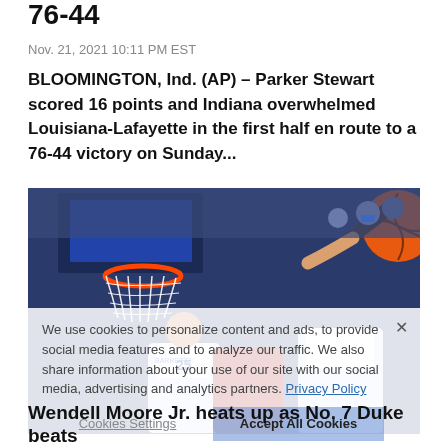76-44
Nov. 21, 2021 10:11 PM EST
BLOOMINGTON, Ind. (AP) – Parker Stewart scored 16 points and Indiana overwhelmed Louisiana-Lafayette in the first half en route to a 76-44 victory on Sunday...
[Figure (photo): Basketball game action photo showing players reaching for ball near the hoop, Duke players in blue and white uniforms]
We use cookies to personalize content and ads, to provide social media features and to analyze our traffic. We also share information about your use of our site with our social media, advertising and analytics partners. Privacy Policy
Cookies Settings    Accept All Cookies
Wendell Moore Jr. heats up as No. 7 Duke beats